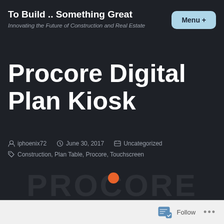To Build .. Something Great
Innovating the Future of Construction and Real Estate
Procore Digital Plan Kiosk
iphoenix72  June 30, 2017  Uncategorized
Construction, Plan Table, Procore, Touchscreen
[Figure (logo): Procore logo text watermark in dark background with orange dot]
Follow